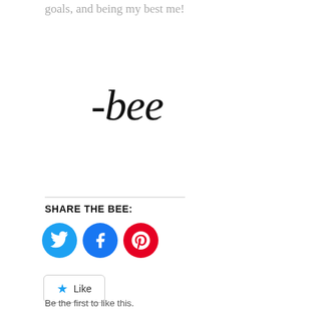keeping the eye on the prize and focusing on my fitness goals, and being my best me!
[Figure (illustration): Handwritten cursive signature reading '-bee' in large script font]
SHARE THE BEE:
[Figure (infographic): Three circular social media share buttons: Twitter (blue), Facebook (dark blue), Pinterest (red)]
[Figure (infographic): WordPress Like button with star icon and 'Like' text in a rounded rectangle border]
Be the first to like this.